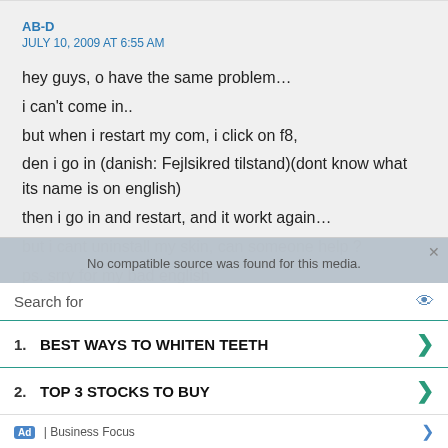AB-D
JULY 10, 2009 AT 6:55 AM
hey guys, o have the same problem…
i can't come in..
but when i restart my com, i click on f8,
den i go in (danish: Fejlsikred tilstand)(dont know what its name is on english)
then i go in and restart, and it workt again…
but i cant uninstall my skin, can someone help ?
ps. srry for my bad english
[Figure (screenshot): Advertisement overlay with video unavailable notice, search bar, and two sponsored search results: 1. BEST WAYS TO WHITEN TEETH, 2. TOP 3 STOCKS TO BUY, with Business Focus ad label at bottom.]